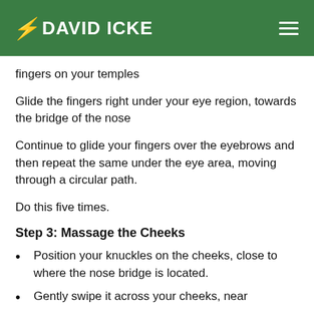DAVID ICKE
fingers on your temples
Glide the fingers right under your eye region, towards the bridge of the nose
Continue to glide your fingers over the eyebrows and then repeat the same under the eye area, moving through a circular path.
Do this five times.
Step 3: Massage the Cheeks
Position your knuckles on the cheeks, close to where the nose bridge is located.
Gently swipe it across your cheeks, near